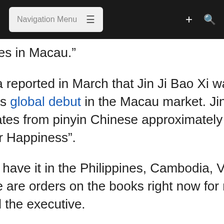Navigation Menu
the venues in Macau.”
GGRAsia reported in March that Jin Ji Bao Xi was making its global debut in the Macau market. Jin Ji Bao Xi translates from pinyin Chinese approximately as “Gold to Deliver Happiness”.
“We now have it in the Philippines, Cambodia, Vietnam, and there are orders on the books right now for more of it,” stated the executive.
“It’s a follow-on from ‘Da Fu Da Gui’ which we released five years ago now, and it’s still very successful in the market,” said Mr Jolly. The Chinese name of that product translates as “Getting Rich”.